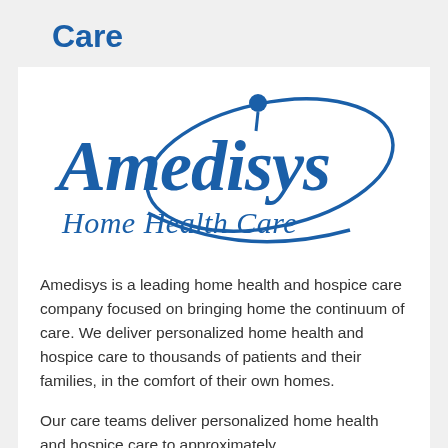Care
[Figure (logo): Amedisys Home Health Care logo — blue italic 'Amedisys' text with an elliptical orbit graphic and a dot, with 'Home Health Care' in blue below]
Amedisys is a leading home health and hospice care company focused on bringing home the continuum of care. We deliver personalized home health and hospice care to thousands of patients and their families, in the comfort of their own homes.
Our care teams deliver personalized home health and hospice care to approximately